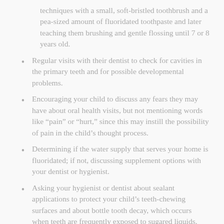techniques with a small, soft-bristled toothbrush and a pea-sized amount of fluoridated toothpaste and later teaching them brushing and gentle flossing until 7 or 8 years old.
Regular visits with their dentist to check for cavities in the primary teeth and for possible developmental problems.
Encouraging your child to discuss any fears they may have about oral health visits, but not mentioning words like “pain” or “hurt,” since this may instill the possibility of pain in the child’s thought process.
Determining if the water supply that serves your home is fluoridated; if not, discussing supplement options with your dentist or hygienist.
Asking your hygienist or dentist about sealant applications to protect your child’s teeth-chewing surfaces and about bottle tooth decay, which occurs when teeth are frequently exposed to sugared liquids.